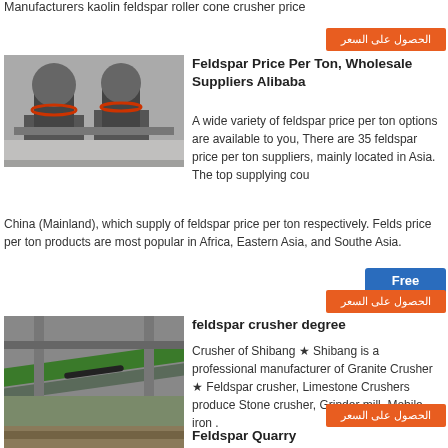Manufacturers kaolin feldspar roller cone crusher price
[Figure (other): Arabic language button - الحصول على السعر (first)]
[Figure (photo): Industrial cone crusher machinery in a factory setting]
Feldspar Price Per Ton, Wholesale Suppliers Alibaba
A wide variety of feldspar price per ton options are available to you, There are 35 feldspar price per ton suppliers, mainly located in Asia. The top supplying country is China (Mainland), which supply of feldspar price per ton respectively. Feldspar price per ton products are most popular in Africa, Eastern Asia, and Southeast Asia.
[Figure (other): Free chat button overlay]
[Figure (other): Arabic language button - الحصول على السعر (second)]
[Figure (photo): Industrial gantry crane or conveyor structure in factory]
feldspar crusher degree
Crusher of Shibang ★ Shibang is a professional manufacturer of Granite Crusher ★ Feldspar crusher, Limestone Crushers produce Stone crusher, Grinder mill, Mobile. iron .
[Figure (other): Arabic language button - الحصول على السعر (third)]
[Figure (photo): Feldspar quarry or mining equipment partial view]
Feldspar Quarry